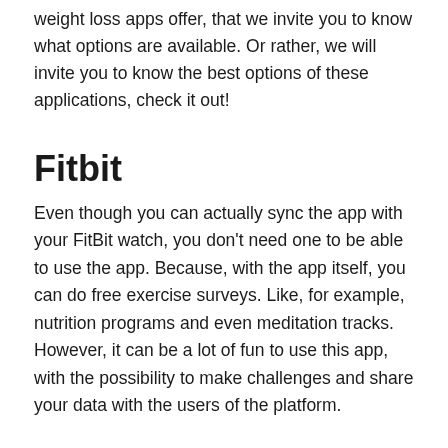weight loss apps offer, that we invite you to know what options are available. Or rather, we will invite you to know the best options of these applications, check it out!
Fitbit
Even though you can actually sync the app with your FitBit watch, you don't need one to be able to use the app. Because, with the app itself, you can do free exercise surveys. Like, for example, nutrition programs and even meditation tracks. However, it can be a lot of fun to use this app, with the possibility to make challenges and share your data with the users of the platform.